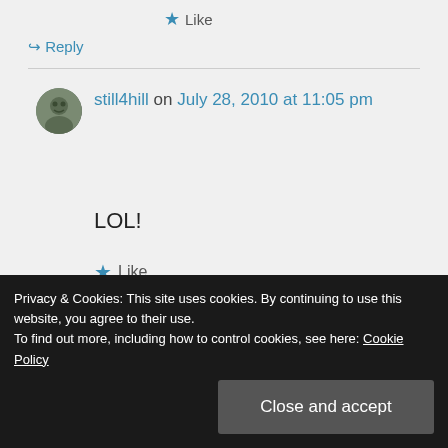★ Like
↪ Reply
still4hill on July 28, 2010 at 11:05 pm
LOL!
★ Like
↪ Reply
Privacy & Cookies: This site uses cookies. By continuing to use this website, you agree to their use. To find out more, including how to control cookies, see here: Cookie Policy
Close and accept